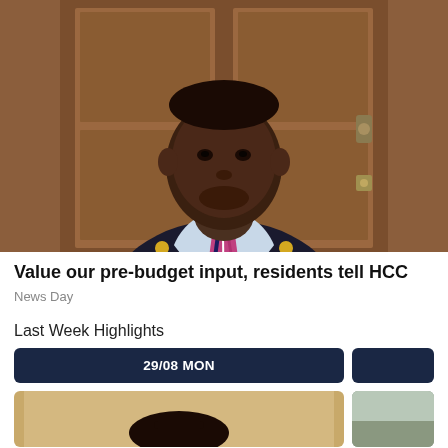[Figure (photo): Portrait photo of a man wearing an official mayoral chain/regalia over a dark suit and striped tie, standing in front of a wooden door]
Value our pre-budget input, residents tell HCC
News Day
Last Week Highlights
29/08 MON
[Figure (photo): Thumbnail image showing a gavel or mallet on a light background]
[Figure (photo): Thumbnail image on the right side, partially visible, showing an outdoor scene]